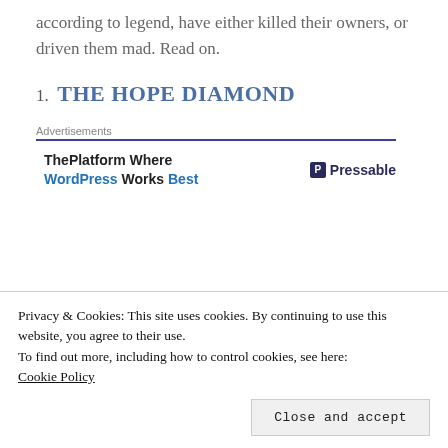according to legend, have either killed their owners, or driven them mad. Read on.
1. THE HOPE DIAMOND
[Figure (screenshot): Advertisement block: ThePlatform Where WordPress Works Best - Pressable]
[Figure (photo): Dark/black top portion of a diamond image, partially cut off. 'One' text visible to the right.]
Privacy & Cookies: This site uses cookies. By continuing to use this website, you agree to their use.
To find out more, including how to control cookies, see here:
Cookie Policy
Close and accept